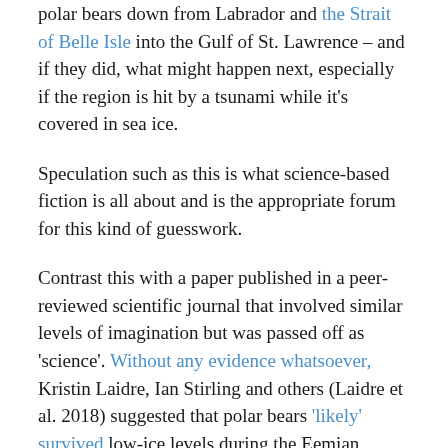polar bears down from Labrador and the Strait of Belle Isle into the Gulf of St. Lawrence – and if they did, what might happen next, especially if the region is hit by a tsunami while it's covered in sea ice.
Speculation such as this is what science-based fiction is all about and is the appropriate forum for this kind of guesswork.
Contrast this with a paper published in a peer-reviewed scientific journal that involved similar levels of imagination but was passed off as 'science'. Without any evidence whatsoever, Kristin Laidre, Ian Stirling and others (Laidre et al. 2018) suggested that polar bears 'likely' survived low-ice levels during the Eemian Interglacial and other warm periods by scavenging carcasses of dead whales during the ice-free season – and then used this baseless